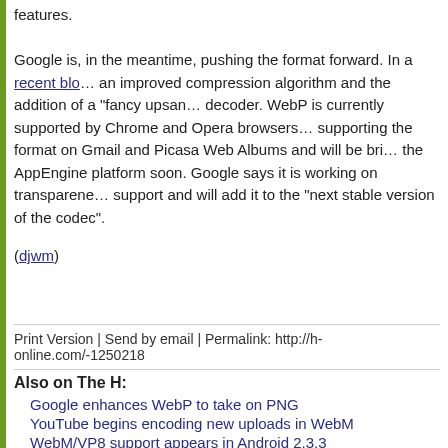features.

Google is, in the meantime, pushing the format forward. In a recent blo... an improved compression algorithm and the addition of a "fancy upsan... decoder. WebP is currently supported by Chrome and Opera browsers... supporting the format on Gmail and Picasa Web Albums and will be bri... the AppEngine platform soon. Google says it is working on transparene... support and will add it to the "next stable version of the codec".
(djwm)
Print Version | Send by email | Permalink: http://h-online.com/-1250218
Also on The H:
Google enhances WebP to take on PNG
YouTube begins encoding new uploads in WebM
WebM/VP8 support appears in Android 2.3.3
FSF backing Google's push for WebM codec
Google announce WebP as an alternative to JPEG - Update
Winamp media player adds VP8/WebM support